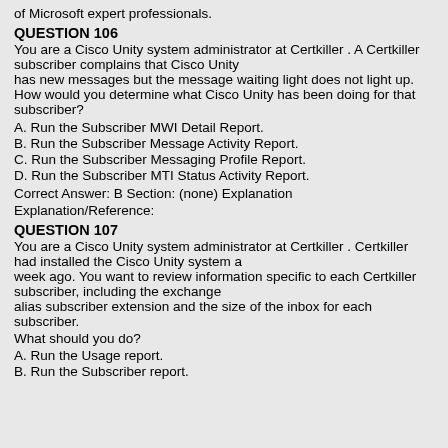of Microsoft expert professionals.
QUESTION 106
You are a Cisco Unity system administrator at Certkiller . A Certkiller subscriber complains that Cisco Unity has new messages but the message waiting light does not light up. How would you determine what Cisco Unity has been doing for that subscriber?
A. Run the Subscriber MWI Detail Report.
B. Run the Subscriber Message Activity Report.
C. Run the Subscriber Messaging Profile Report.
D. Run the Subscriber MTI Status Activity Report.
Correct Answer: B Section: (none) Explanation
Explanation/Reference:
QUESTION 107
You are a Cisco Unity system administrator at Certkiller . Certkiller had installed the Cisco Unity system a week ago. You want to review information specific to each Certkiller subscriber, including the exchange alias subscriber extension and the size of the inbox for each subscriber.
What should you do?
A. Run the Usage report.
B. Run the Subscriber report.